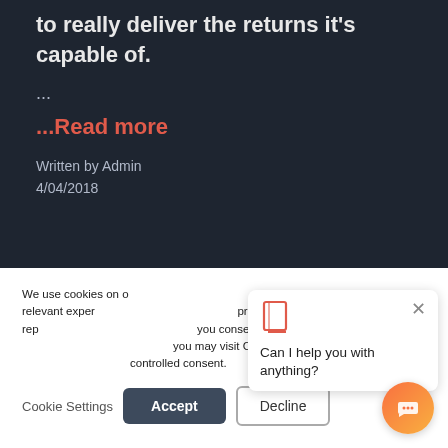to really deliver the returns it's capable of.
...
...Read more
Written by Admin
4/04/2018
We use cookies on our website to give you the most relevant experience by remembering your preferences and repeat visits. By clicking "Accept", you consent to the use of ALL the cookies. However, you may visit Cookie Settings to provide a controlled consent.
Can I help you with anything?